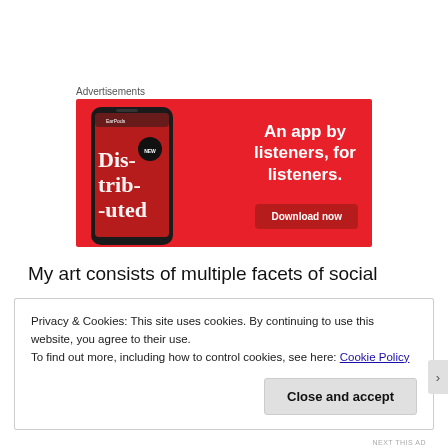Advertisements
[Figure (illustration): Advertisement banner with red background showing a smartphone displaying a podcast app called 'Distributed'. Text reads 'An app by listeners, for listeners.' with a 'Download now' button.]
My art consists of multiple facets of social
Privacy & Cookies: This site uses cookies. By continuing to use this website, you agree to their use.
To find out more, including how to control cookies, see here: Cookie Policy
Close and accept